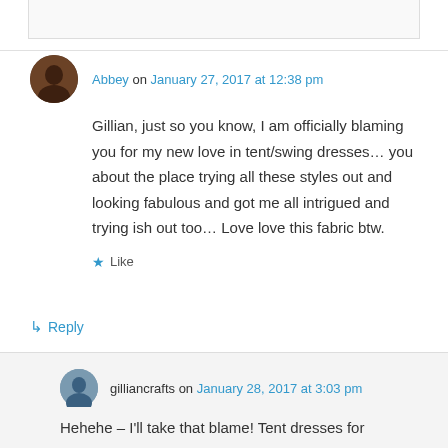Abbey on January 27, 2017 at 12:38 pm
Gillian, just so you know, I am officially blaming you for my new love in tent/swing dresses… you about the place trying all these styles out and looking fabulous and got me all intrigued and trying ish out too… Love love this fabric btw.
★ Like
↳ Reply
gilliancrafts on January 28, 2017 at 3:03 pm
Hehehe – I'll take that blame! Tent dresses for everyone!!!